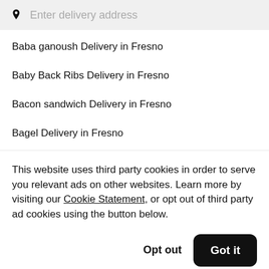Enter delivery address
Baba ganoush Delivery in Fresno
Baby Back Ribs Delivery in Fresno
Bacon sandwich Delivery in Fresno
Bagel Delivery in Fresno
This website uses third party cookies in order to serve you relevant ads on other websites. Learn more by visiting our Cookie Statement, or opt out of third party ad cookies using the button below.
Opt out
Got it